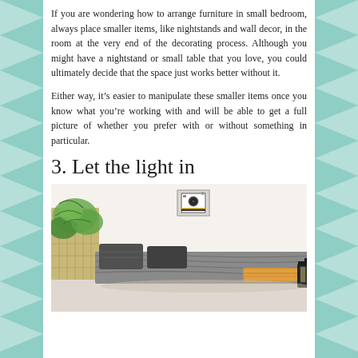If you are wondering how to arrange furniture in small bedroom, always place smaller items, like nightstands and wall decor, in the room at the very end of the decorating process. Although you might have a nightstand or small table that you love, you could ultimately decide that the space just works better without it.
Either way, it's easier to manipulate these smaller items once you know what you're working with and will be able to get a full picture of whether you prefer with or without something in particular.
3. Let the light in
[Figure (photo): A bedroom photo showing a bed with grey bedding and dark pillows, a yellow/orange folded blanket at the foot of the bed, a small black lantern on the right, green plants on the left side, and a small framed picture on the white wall above. The room has a light, airy feel.]